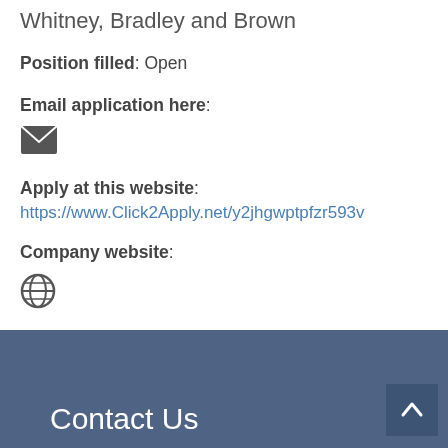Whitney, Bradley and Brown
Position filled: Open
Email application here:
[Figure (illustration): Email envelope icon (dark gray filled envelope symbol)]
Apply at this website:
https://www.Click2Apply.net/y2jhgwptpfzr593v
Company website:
[Figure (illustration): Globe/world icon (dark gray globe symbol with grid lines)]
Contact Us